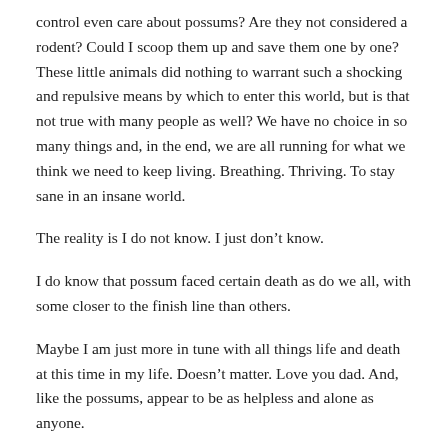control even care about possums? Are they not considered a rodent? Could I scoop them up and save them one by one? These little animals did nothing to warrant such a shocking and repulsive means by which to enter this world, but is that not true with many people as well? We have no choice in so many things and, in the end, we are all running for what we think we need to keep living. Breathing. Thriving. To stay sane in an insane world.
The reality is I do not know. I just don’t know.
I do know that possum faced certain death as do we all, with some closer to the finish line than others.
Maybe I am just more in tune with all things life and death at this time in my life. Doesn’t matter. Love you dad. And, like the possums, appear to be as helpless and alone as anyone.